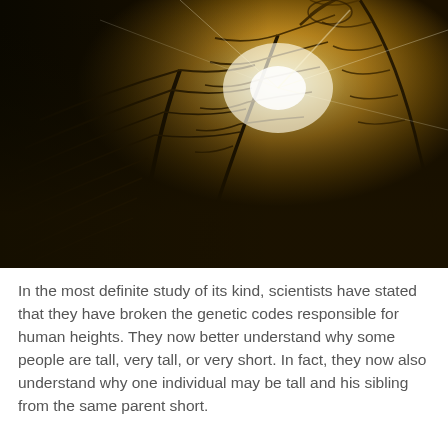[Figure (photo): A dramatic golden-hued image of skeletal or mechanical serpentine/dinosaur-like ribcage structures illuminated by a bright light source in the center, with dark shadows and a fantasy sci-fi aesthetic.]
In the most definite study of its kind, scientists have stated that they have broken the genetic codes responsible for human heights. They now better understand why some people are tall, very tall, or very short. In fact, they now also understand why one individual may be tall and his sibling from the same parent short.